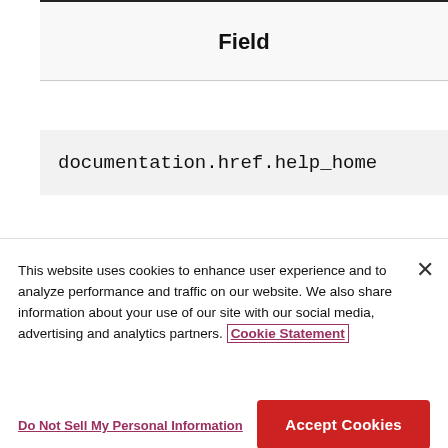| Field |
| --- |
| documentation.href.help_home |
This website uses cookies to enhance user experience and to analyze performance and traffic on our website. We also share information about your use of our site with our social media, advertising and analytics partners. Cookie Statement
Do Not Sell My Personal Information
Accept Cookies